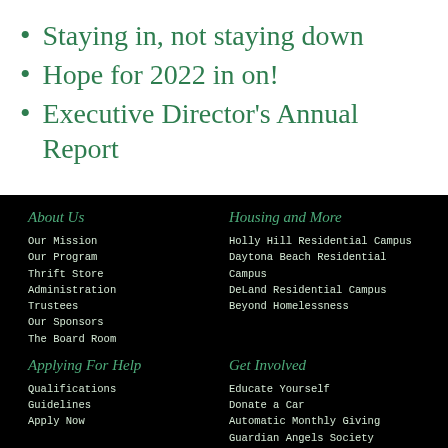Staying in, not staying down
Hope for 2022 in on!
Executive Director's Annual Report
About Us
Our Mission
Our Program
Thrift Store
Administration
Trustees
Our Sponsors
The Board Room
Housing and More
Holly Hill Residential Campus
Daytona Beach Residential Campus
DeLand Residential Campus
Beyond Homelessness
Applying For Help
Qualifications
Guidelines
Apply Now
Get Involved
Educate Yourself
Donate a Car
Automatic Monthly Giving
Guardian Angels Society
Ways to Give
Giving in Your Will